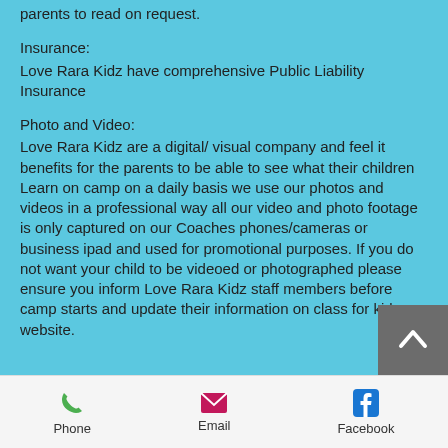parents to read on request.
Insurance:
Love Rara Kidz have comprehensive Public Liability Insurance
Photo and Video:
Love Rara Kidz are a digital/ visual company and feel it benefits for the parents to be able to see what their children Learn on camp on a daily basis we use our photos and videos in a professional way all our video and photo footage is only captured on our Coaches phones/cameras or business ipad and used for promotional purposes. If you do not want your child to be videoed or photographed please ensure you inform Love Rara Kidz staff members before camp starts and update their information on class for kids website.
Phone  Email  Facebook